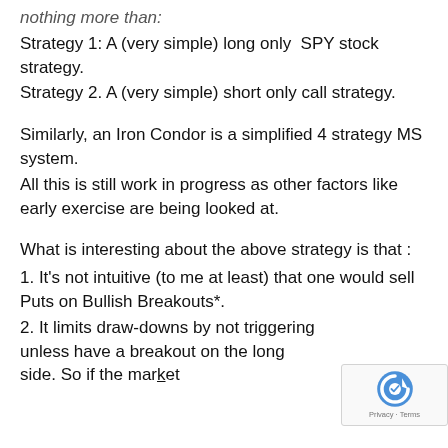nothing more than:
Strategy 1: A (very simple) long only  SPY stock strategy.
Strategy 2. A (very simple) short only call strategy.
Similarly, an Iron Condor is a simplified 4 strategy MS system.
All this is still work in progress as other factors like early exercise are being looked at.
What is interesting about the above strategy is that :
1. It's not intuitive (to me at least) that one would sell Puts on Bullish Breakouts*.
2. It limits draw-downs by not triggering unless have a breakout on the long side. So if the market